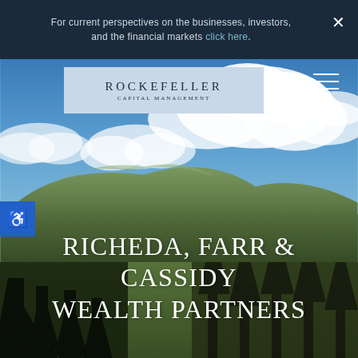For current perspectives on the businesses, investors, and the financial markets click here.
[Figure (photo): Mountain landscape photograph with blue sky, white clouds, green forested hills, and dark pine trees in the foreground. Rocky Mountain scenery.]
RICHEDA, FARR & CASSIDY WEALTH PARTNERS